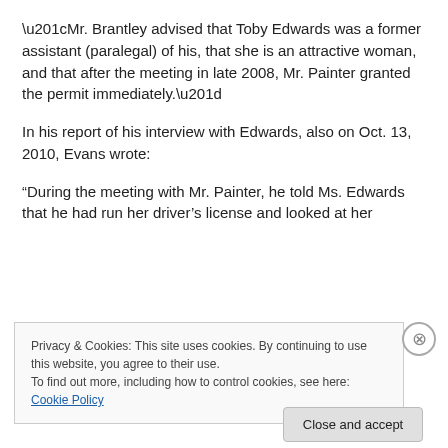“Mr. Brantley advised that Toby Edwards was a former assistant (paralegal) of his, that she is an attractive woman, and that after the meeting in late 2008, Mr. Painter granted the permit immediately.”
In his report of his interview with Edwards, also on Oct. 13, 2010, Evans wrote:
“During the meeting with Mr. Painter, he told Ms. Edwards that he had run her driver’s license and looked at her
Privacy & Cookies: This site uses cookies. By continuing to use this website, you agree to their use.
To find out more, including how to control cookies, see here: Cookie Policy